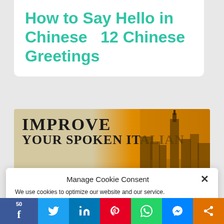How to Say Hello in Chinese  12 Chinese Greetings
[Figure (illustration): Banner advertisement with text 'IMPROVE YOUR SPOKEN ITALIAN' on a warm tan and orange background with a silhouette of an Italian cityscape at sunset on the right side.]
Manage Cookie Consent
We use cookies to optimize our website and our service.
Accept
50  [Facebook] [Twitter] [LinkedIn] [Pinterest] [WhatsApp] [Messenger] [Share]